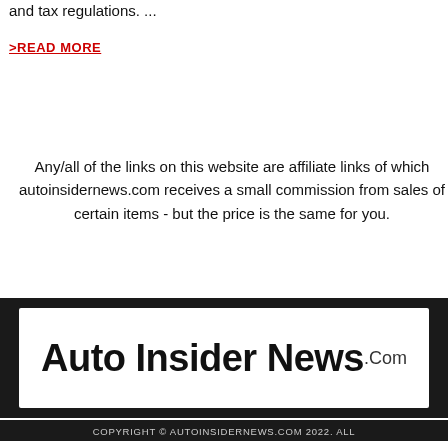and tax regulations. ...
>READ MORE
Any/all of the links on this website are affiliate links of which autoinsidernews.com receives a small commission from sales of certain items - but the price is the same for you.
[Figure (logo): Auto Insider News .Com logo in bold black text on white background within a dark footer area]
COPYRIGHT © AUTOINSIDERNEWS.COM 2022. ALL